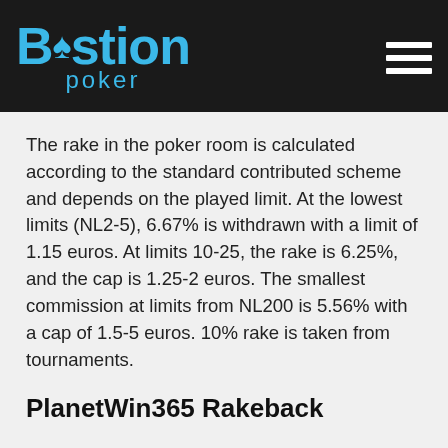Bastion Poker
The rake in the poker room is calculated according to the standard contributed scheme and depends on the played limit. At the lowest limits (NL2-5), 6.67% is withdrawn with a limit of 1.15 euros. At limits 10-25, the rake is 6.25%, and the cap is 1.25-2 euros. The smallest commission at limits from NL200 is 5.56% with a cap of 1.5-5 euros. 10% rake is taken from tournaments.
PlanetWin365 Rakeback
Rakeback in PlanetWin365 is paid depending on the level occupied in the VIP system. There are 6 levels in total, two